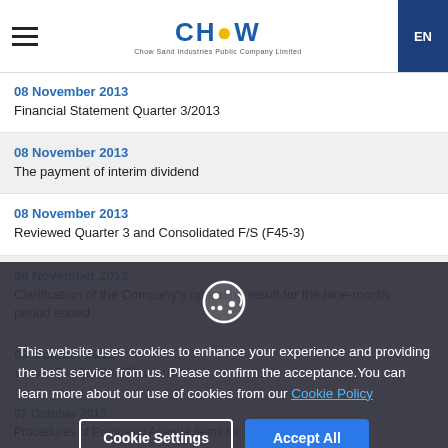CHOW | EN
08 November 2013
Financial Statement Quarter 3/2013
08 November 2013
The payment of interim dividend
08 November 2013
Reviewed Quarter 3 and Consolidated F/S (F45-3)
08 November 2013
Clarification of the Company's operating result for the nine-month period ended
09 October 2013
(Thai text)
07 October 2013
Procedures of Proposing Agenda Items for 2014 AGM and
This website uses cookies to enhance your experience and providing the best service from us. Please confirm the acceptance. You can learn more about our use of cookies from our Cookie Policy
Cookie Settings | Accept All